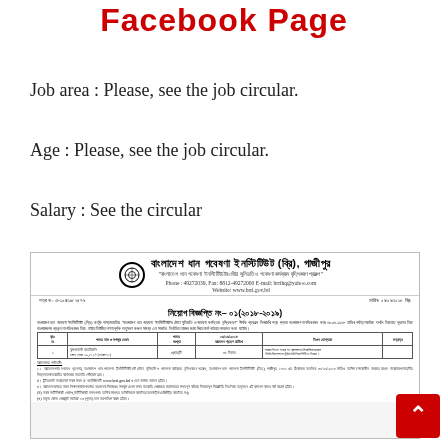Facebook Page
Job area : Please, see the job circular.
Age : Please, see the job circular.
Salary : See the circular
[Figure (photo): Scanned image of a Bangladesh Rice Research Institute (BRRI) job circular notice dated 09/09/2018, showing a recruitment notice No. 01(2018-2019) with a table of positions and application instructions in Bengali.]